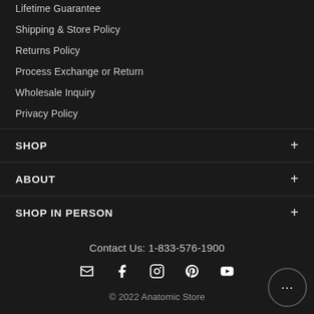Lifetime Guarantee
Shipping & Store Policy
Returns Policy
Process Exchange or Return
Wholesale Inquiry
Privacy Policy
SHOP
ABOUT
SHOP IN PERSON
Contact Us: 1-833-576-1900
[Figure (infographic): Social media icons row: email, facebook, instagram, pinterest, youtube]
© 2022 Anatomic Store